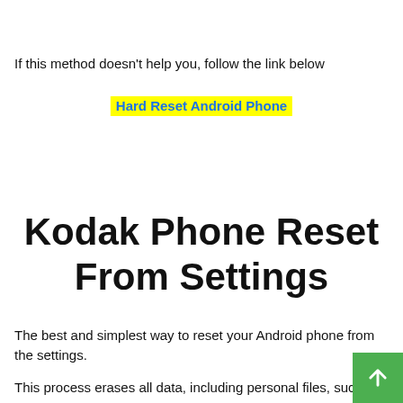If this method doesn't help you, follow the link below
Hard Reset Android Phone
Kodak Phone Reset From Settings
The best and simplest way to reset your Android phone from the settings.
This process erases all data, including personal files, such as